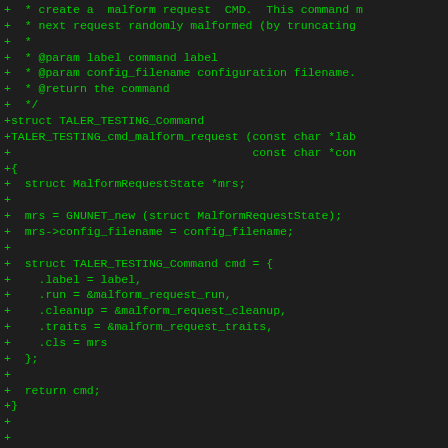Code diff showing TALER_TESTING_cmd_malform_request function implementation in C